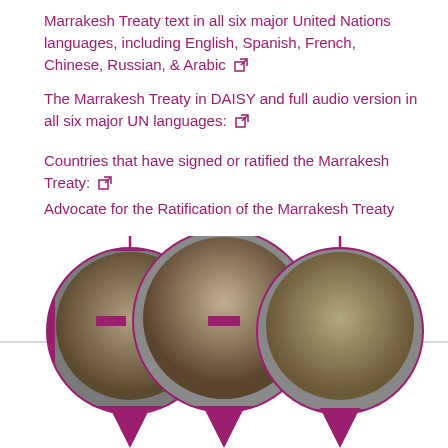Marrakesh Treaty text in all six major United Nations languages, including English, Spanish, French, Chinese, Russian, & Arabic [link]
The Marrakesh Treaty in DAISY and full audio version in all six major UN languages: [link]
Countries that have signed or ratified the Marrakesh Treaty: [link]
Advocate for the Ratification of the Marrakesh Treaty
[Figure (photo): Three circular photo frames arranged in a glasses/spectacles shape with maroon/dark pink outlines, showing people speaking at microphones and participating in meetings related to accessibility advocacy. A horizontal line runs through the middle connecting the circles.]